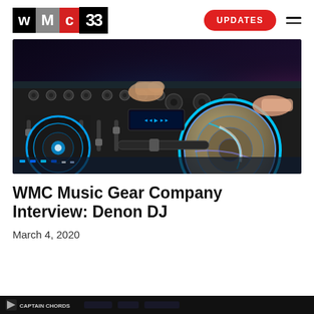WMC 33 | UPDATES
[Figure (photo): Close-up photo of a DJ mixer/controller with blue LED lights, knobs, faders, and a spinning platter with neon lighting. Hands visible operating the equipment.]
WMC Music Gear Company Interview: Denon DJ
March 4, 2020
[Figure (screenshot): Partial screenshot at bottom of page showing Captain Chords software interface.]